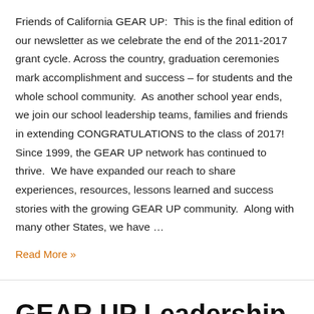Friends of California GEAR UP:  This is the final edition of our newsletter as we celebrate the end of the 2011-2017 grant cycle. Across the country, graduation ceremonies mark accomplishment and success – for students and the whole school community.  As another school year ends, we join our school leadership teams, families and friends in extending CONGRATULATIONS to the class of 2017! Since 1999, the GEAR UP network has continued to thrive.  We have expanded our reach to share experiences, resources, lessons learned and success stories with the growing GEAR UP community.  Along with many other States, we have …
Read More »
GEAR UP Leadership Day in North State is a Hit